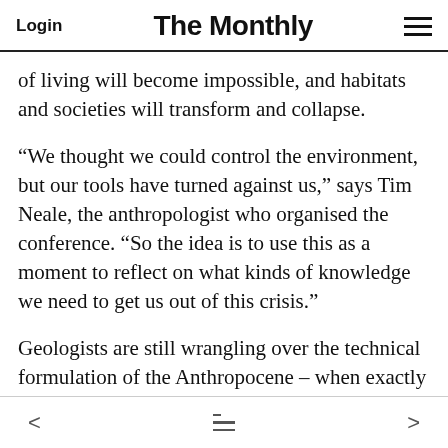Login   The Monthly
of living will become impossible, and habitats and societies will transform and collapse.
“We thought we could control the environment, but our tools have turned against us,” says Tim Neale, the anthropologist who organised the conference. “So the idea is to use this as a moment to reflect on what kinds of knowledge we need to get us out of this crisis.”
Geologists are still wrangling over the technical formulation of the Anthropocene – when exactly it began, how it fits in the deep time of Earth’s past, but the notion that ordinary...
< [menu] >